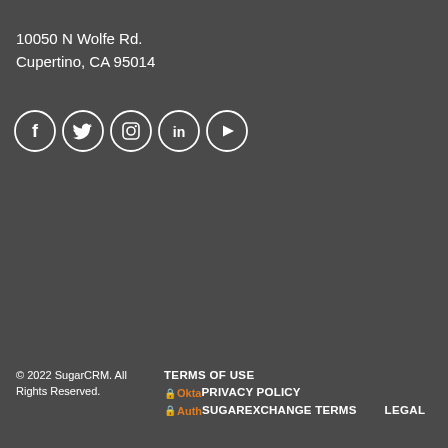10050 N Wolfe Rd.
Cupertino, CA 95014
[Figure (illustration): Five social media icons in circles: Facebook, Twitter, Instagram, LinkedIn, YouTube]
© 2022 SugarCRM. All Rights Reserved.   TERMS OF USE   🔒OktaPRIVACY POLICY   🔒AuthSUGAREXCHANGE TERMS   LEGAL